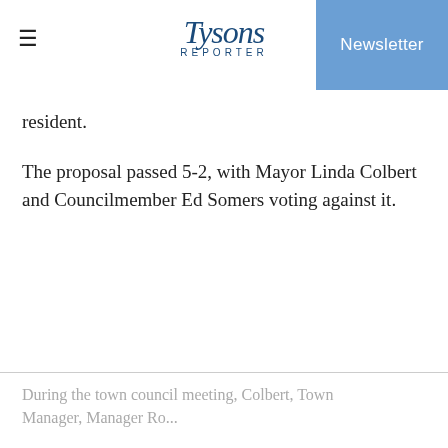Tysons Reporter | Newsletter
resident.
The proposal passed 5-2, with Mayor Linda Colbert and Councilmember Ed Somers voting against it.
During the town council meeting, Colbert, Town Manager, Manager Ro...